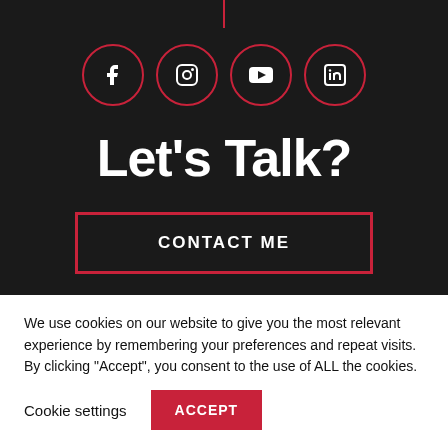[Figure (illustration): Four social media icons in red-outlined circles on dark background: Facebook, Instagram, YouTube, LinkedIn]
Let's Talk?
CONTACT ME
We use cookies on our website to give you the most relevant experience by remembering your preferences and repeat visits. By clicking “Accept”, you consent to the use of ALL the cookies.
Cookie settings   ACCEPT